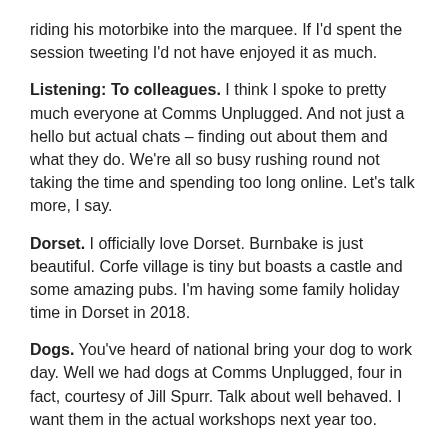riding his motorbike into the marquee. If I'd spent the session tweeting I'd not have enjoyed it as much.
Listening: To colleagues. I think I spoke to pretty much everyone at Comms Unplugged. And not just a hello but actual chats – finding out about them and what they do. We're all so busy rushing round not taking the time and spending too long online. Let's talk more, I say.
Dorset. I officially love Dorset. Burnbake is just beautiful. Corfe village is tiny but boasts a castle and some amazing pubs. I'm having some family holiday time in Dorset in 2018.
Dogs. You've heard of national bring your dog to work day. Well we had dogs at Comms Unplugged, four in fact, courtesy of Jill Spurr. Talk about well behaved. I want them in the actual workshops next year too.
Llamas versus Alpacas. One of the funniest conversations I've had in ages. I'm not saying any more, you really had to be there.